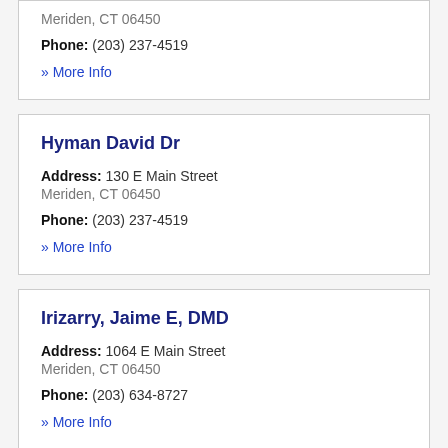Meriden, CT 06450
Phone: (203) 237-4519
» More Info
Hyman David Dr
Address: 130 E Main Street
Meriden, CT 06450
Phone: (203) 237-4519
» More Info
Irizarry, Jaime E, DMD
Address: 1064 E Main Street
Meriden, CT 06450
Phone: (203) 634-8727
» More Info